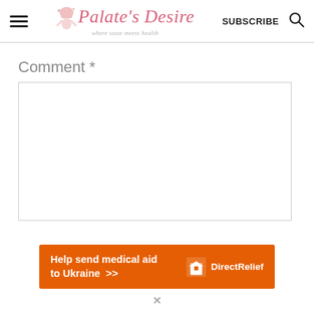Palate's Desire — where taste meets health
Comment *
[Figure (screenshot): Empty comment text area input box]
[Figure (infographic): Orange banner advertisement: 'Help send medical aid to Ukraine >>' with Direct Relief logo]
×